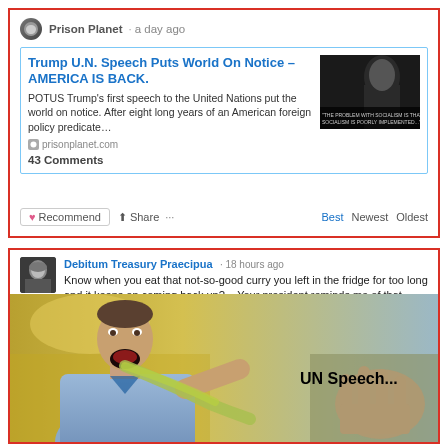Prison Planet · a day ago
Trump U.N. Speech Puts World On Notice – AMERICA IS BACK.
POTUS Trump's first speech to the United Nations put the world on notice. After eight long years of an American foreign policy predicate…
prisonplanet.com
43 Comments
♥ Recommend   Share   …   Best   Newest   Oldest
Debitum Treasury Praecipua · 18 hours ago
Know when you eat that not-so-good curry you left in the fridge for too long and it keeps on coming back up? ~ Your president reminds me of that, must be why once more, the self-professed greatest nation in the world is repeating old news again as if it just happened ~ Yes, his speech at the UN was a frigging disaster, but that was months and months ago, what's your problem America, gastric reflux?
[Figure (photo): Meme image showing a person vomiting with 'UN Speech...' text overlay]